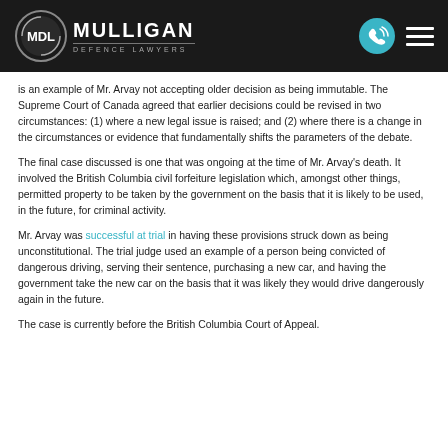Mulligan Defence Lawyers
is an example of Mr. Arvay not accepting older decision as being immutable. The Supreme Court of Canada agreed that earlier decisions could be revised in two circumstances: (1) where a new legal issue is raised; and (2) where there is a change in the circumstances or evidence that fundamentally shifts the parameters of the debate.
The final case discussed is one that was ongoing at the time of Mr. Arvay's death. It involved the British Columbia civil forfeiture legislation which, amongst other things, permitted property to be taken by the government on the basis that it is likely to be used, in the future, for criminal activity.
Mr. Arvay was successful at trial in having these provisions struck down as being unconstitutional. The trial judge used an example of a person being convicted of dangerous driving, serving their sentence, purchasing a new car, and having the government take the new car on the basis that it was likely they would drive dangerously again in the future.
The case is currently before the British Columbia Court of Appeal.